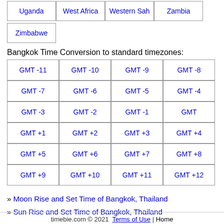Uganda
West Africa
Western Sah
Zambia
Zimbabwe
Bangkok Time Conversion to standard timezones:
| GMT -11 | GMT -10 | GMT -9 | GMT -8 |
| GMT -7 | GMT -6 | GMT -5 | GMT -4 |
| GMT -3 | GMT -2 | GMT -1 | GMT |
| GMT +1 | GMT +2 | GMT +3 | GMT +4 |
| GMT +5 | GMT +6 | GMT +7 | GMT +8 |
| GMT +9 | GMT +10 | GMT +11 | GMT +12 |
» Moon Rise and Set Time of Bangkok, Thailand
» Sun Rise and Set Time of Bangkok, Thailand
timebie.com © 2021  Terms of Use | Home